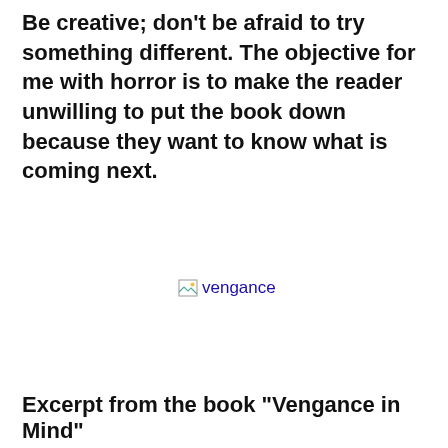Be creative; don’t be afraid to try something different. The objective for me with horror is to make the reader unwilling to put the book down because they want to know what is coming next.
[Figure (other): Broken image placeholder with alt text 'vengance']
Excerpt from the book “Vengance in Mind”